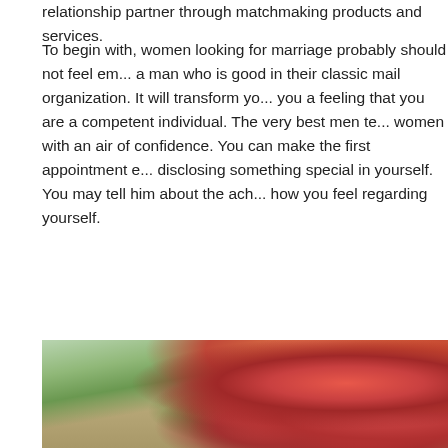relationship partner through matchmaking products and services.
To begin with, women looking for marriage probably should not feel em... a man who is good in their classic mail organization. It will transform yo... you a feeling that you are a competent individual. The very best men te... women with an air of confidence. You can make the first appointment e... disclosing something special in yourself. You may tell him about the ach... how you feel regarding yourself.
[Figure (photo): A photograph of red/coral roses and green foliage, blurred background with warm tan tones and a teal accent at the bottom left. The image is cropped showing the bouquet from roughly center-right, with soft focus bokeh.]